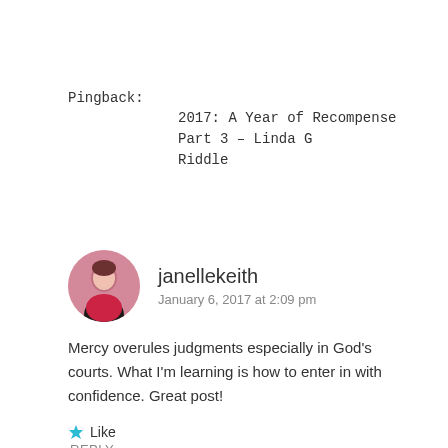Pingback:
2017: A Year of Recompense Part 3 – Linda G Riddle
janellekeith
January 6, 2017 at 2:09 pm
Mercy overules judgments especially in God's courts. What I'm learning is how to enter in with confidence. Great post!
★ Like
REPLY